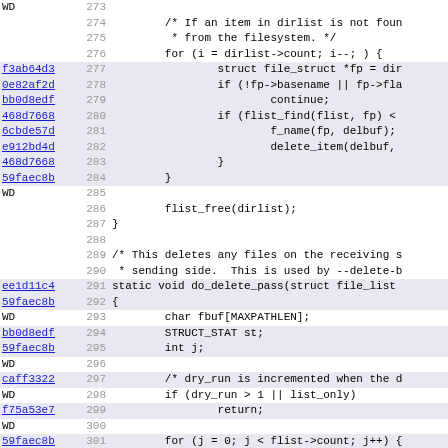[Figure (screenshot): Source code diff view showing C code lines 273-304 with commit hashes on the left, line numbers in middle, and code content on the right. Shows file_struct loop, flist_find, delete_item, flist_free, do_delete_pass function definition, and related variable declarations.]